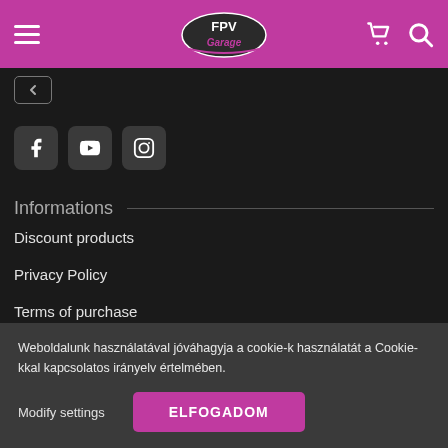FPV Garage — navigation header with hamburger menu, logo, cart and search icons
[Figure (screenshot): Back button (square with left arrow outline)]
[Figure (screenshot): Social media icons: Facebook, YouTube, Instagram]
Informations
Discount products
Privacy Policy
Terms of purchase
Payment & delivery
Help
Weboldalunk használatával jóváhagyja a cookie-k használatát a Cookie-kkal kapcsolatos irányelv értelmében.
Modify settings
ELFOGADOM